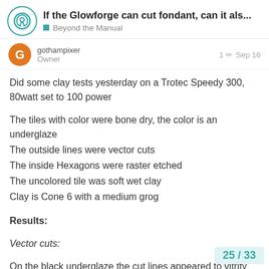If the Glowforge can cut fondant, can it als... | Beyond the Manual
gothampixer
Owner
1 Sep 16
Did some clay tests yesterday on a Trotec Speedy 300, 80watt set to 100 power
The tiles with color were bone dry, the color is an underglaze
The outside lines were vector cuts
The inside Hexagons were raster etched
The uncolored tile was soft wet clay
Clay is Cone 6 with a medium grog
Results:
Vector cuts:
On the black underglaze the cut lines appeared to vitrify and feel like they are raised off the sur... through a lot of sparks in the process
25 / 33